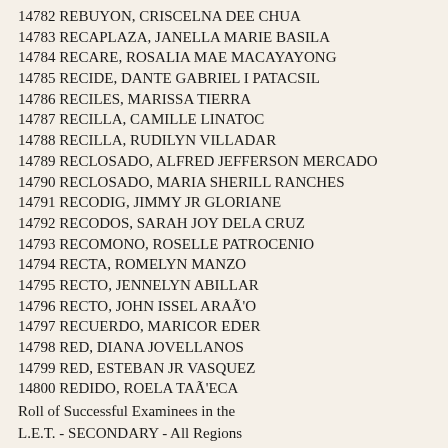14782 REBUYON, CRISCELNA DEE CHUA
14783 RECAPLAZA, JANELLA MARIE BASILA
14784 RECARE, ROSALIA MAE MACAYAYONG
14785 RECIDE, DANTE GABRIEL I PATACSIL
14786 RECILES, MARISSA TIERRA
14787 RECILLA, CAMILLE LINATOC
14788 RECILLA, RUDILYN VILLADAR
14789 RECLOSADO, ALFRED JEFFERSON MERCADO
14790 RECLOSADO, MARIA SHERILL RANCHES
14791 RECODIG, JIMMY JR GLORIANE
14792 RECODOS, SARAH JOY DELA CRUZ
14793 RECOMONO, ROSELLE PATROCENIO
14794 RECTA, ROMELYN MANZO
14795 RECTO, JENNELYN ABILLAR
14796 RECTO, JOHN ISSEL ARAÃ'O
14797 RECUERDO, MARICOR EDER
14798 RED, DIANA JOVELLANOS
14799 RED, ESTEBAN JR VASQUEZ
14800 REDIDO, ROELA TAÃ'ECA
Roll of Successful Examinees in the L.E.T. - SECONDARY - All Regions Held on MARCH 26, 2017